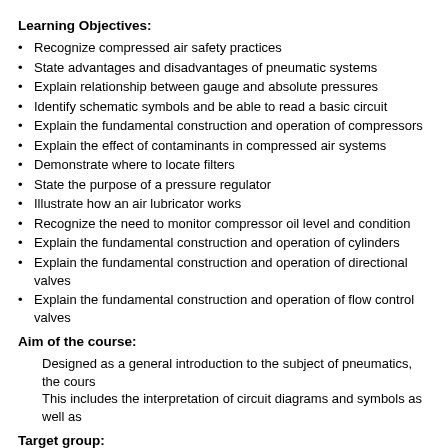Learning Objectives:
Recognize compressed air safety practices
State advantages and disadvantages of pneumatic systems
Explain relationship between gauge and absolute pressures
Identify schematic symbols and be able to read a basic circuit
Explain the fundamental construction and operation of compressors
Explain the effect of contaminants in compressed air systems
Demonstrate where to locate filters
State the purpose of a pressure regulator
Illustrate how an air lubricator works
Recognize the need to monitor compressor oil level and condition
Explain the fundamental construction and operation of cylinders
Explain the fundamental construction and operation of directional valves
Explain the fundamental construction and operation of flow control valves
Aim of the course:
Designed as a general introduction to the subject of pneumatics, the cours This includes the interpretation of circuit diagrams and symbols as well as
Target group:
All Marine Engineer Officers
All personnel involved with the design, installation, maintenance, operation